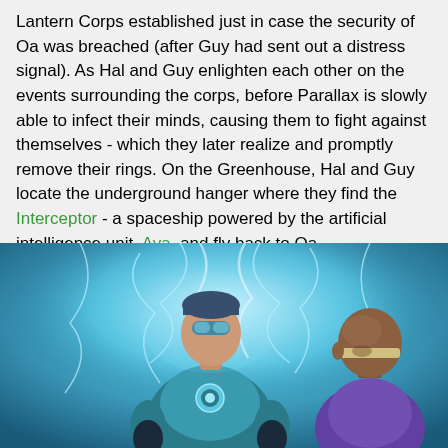Lantern Corps established just in case the security of Oa was breached (after Guy had sent out a distress signal). As Hal and Guy enlighten each other on the events surrounding the corps, before Parallax is slowly able to infect their minds, causing them to fight against themselves - which they later realize and promptly remove their rings. On the Greenhouse, Hal and Guy locate the underground hanger where they find the Interceptor - a spaceship powered by the artificial intelligence unit, Aya, and fly back to Oa.
[Figure (illustration): Comic book illustration of two Green Lantern superheroes standing against a blue electric/lightning background. The foreground figure wears a teal/blue superhero suit with a circular emblem on the chest and a blue mask. A second figure is partially visible on the right, wearing purple, with a bald head and headband.]